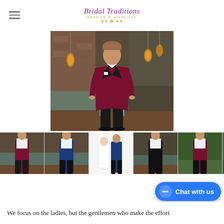Bridal Traditions - wedding & occasions
[Figure (photo): Young man wearing a burgundy/dark red tuxedo jacket with black lapels, black bow tie, white dress shirt with pocket square, and black trousers, standing in a modern venue with glass railings and hanging pendant lights]
[Figure (photo): Thumbnail 1: Man in burgundy tuxedo jacket in venue]
[Figure (photo): Thumbnail 2: Man in blue suit in venue]
[Figure (photo): Thumbnail 3: Man in blue suit standing with bride in white dress]
[Figure (photo): Thumbnail 4: Man in black tuxedo in venue]
[Figure (photo): Thumbnail 5: Man in burgundy tuxedo outdoors]
[Figure (photo): Thumbnail 6: Partial outdoor photo]
We focus on the ladies, but the gentlemen who make the effort
Chat with us